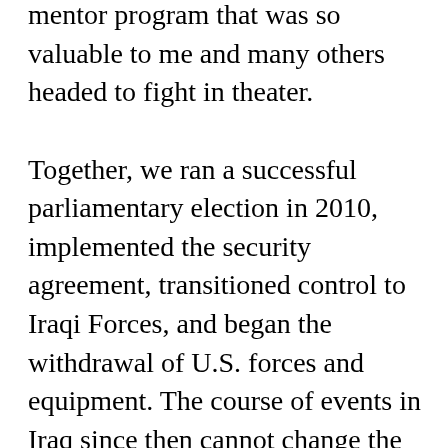mentor program that was so valuable to me and many others headed to fight in theater.

Together, we ran a successful parliamentary election in 2010, implemented the security agreement, transitioned control to Iraqi Forces, and began the withdrawal of U.S. forces and equipment. The course of events in Iraq since then cannot change the fact we accomplished our mission — all of our missions — and we gave the Iraqi people the opportunity to establish a unified, democratic government. We gave them the chance to be a great power for growth and stability in the